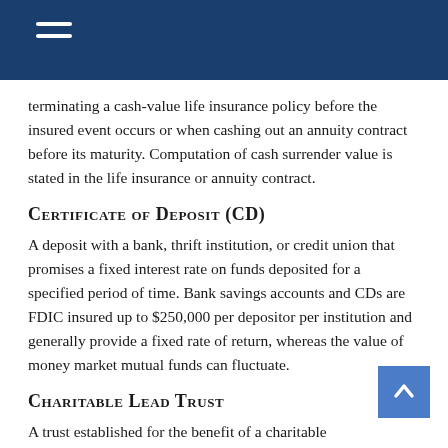terminating a cash-value life insurance policy before the insured event occurs or when cashing out an annuity contract before its maturity. Computation of cash surrender value is stated in the life insurance or annuity contract.
Certificate of Deposit (CD)
A deposit with a bank, thrift institution, or credit union that promises a fixed interest rate on funds deposited for a specified period of time. Bank savings accounts and CDs are FDIC insured up to $250,000 per depositor per institution and generally provide a fixed rate of return, whereas the value of money market mutual funds can fluctuate.
Charitable Lead Trust
A trust established for the benefit of a charitable